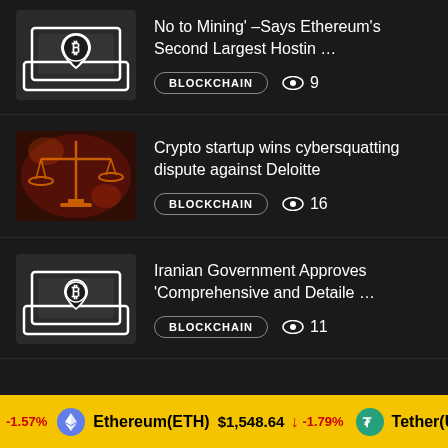[Figure (illustration): Bitcoin laptop/location pin icon on dark background]
No to Mining' –Says Ethereum's Second Largest Hostin …
BLOCKCHAIN  👁 9
[Figure (photo): Red-toned image of scales of justice with dramatic lighting]
Crypto startup wins cybersquatting dispute against Deloitte
BLOCKCHAIN  👁 16
[Figure (illustration): Bitcoin laptop/location pin icon on dark background]
Iranian Government Approves 'Comprehensive and Detaile …
BLOCKCHAIN  👁 11
-1.57%  Ethereum(ETH)  $1,548.64  ↓ -1.79%  Tether(USD…